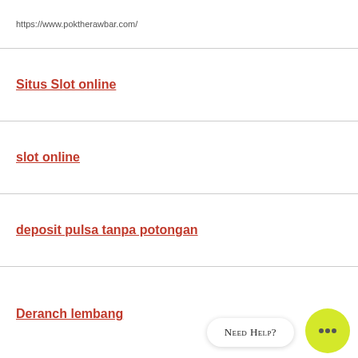https://www.poktherawbar.com/
Situs Slot online
slot online
deposit pulsa tanpa potongan
Deranch lembang
Need Help?